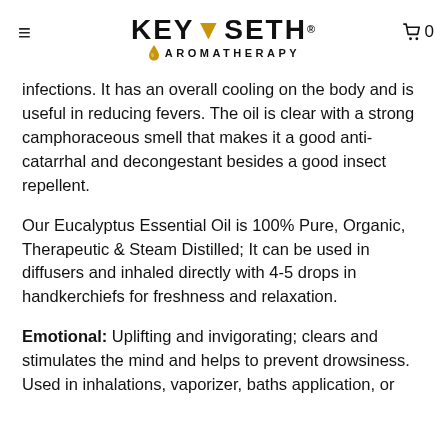≡  KEYA SETH® AROMATHERAPY  🛒 0
infections. It has an overall cooling on the body and is useful in reducing fevers. The oil is clear with a strong camphoraceous smell that makes it a good anti-catarrhal and decongestant besides a good insect repellent.
Our Eucalyptus Essential Oil is 100% Pure, Organic, Therapeutic & Steam Distilled; It can be used in diffusers and inhaled directly with 4-5 drops in handkerchiefs for freshness and relaxation.
Emotional: Uplifting and invigorating; clears and stimulates the mind and helps to prevent drowsiness. Used in inhalations, vaporizer, baths application, or